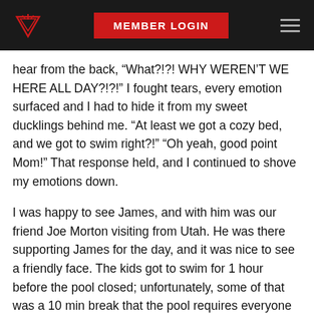MEMBER LOGIN
hear from the back, “What?!?! WHY WEREN’T WE HERE ALL DAY?!?!” I fought tears, every emotion surfaced and I had to hide it from my sweet ducklings behind me. “At least we got a cozy bed, and we got to swim right?!” “Oh yeah, good point Mom!” That response held, and I continued to shove my emotions down.
I was happy to see James, and with him was our friend Joe Morton visiting from Utah. He was there supporting James for the day, and it was nice to see a friendly face. The kids got to swim for 1 hour before the pool closed; unfortunately, some of that was a 10 min break that the pool requires everyone to get out of the pool for a bit. I was grateful that they at least got a few minutes to swim at this great pool.
Dinner arrived, spaghetti and salad (which I love!)! We chowed down and the 5k was starting. The Zyto girls had